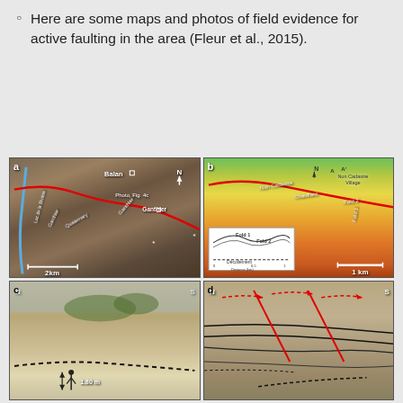Here are some maps and photos of field evidence for active faulting in the area (Fleur et al., 2015).
[Figure (map): Panel a: Satellite aerial view of the Ganthier area showing a red fault trace line running diagonally, with labels 'Balan', 'Ganthier', 'Quaternary', 'Lac de la Riviere', 'Photo, Fig. 4c', scale bar '2km', and north arrow.]
[Figure (map): Panel b: Topographic map showing fold structures (Fold 1, Fold 2) with red fault trace, labels 'Non Cadastre Village', 'Chauffard', inset cross-section diagram showing Fold 1, Fold 2, Decollement, scale bar '1 km'.]
[Figure (photo): Panel c: Field photograph looking from N to S showing layered sedimentary outcrop with a dashed line indicating fault/unconformity, person for scale labeled '1.80 m'.]
[Figure (photo): Panel d: Field photograph looking from N to S showing tilted sedimentary layers with red solid and dashed fault lines overlain, indicating thrust/reverse faulting structures.]